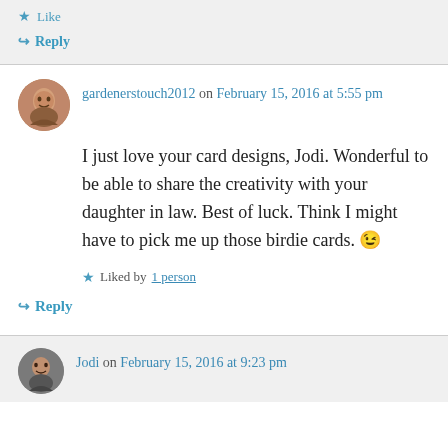★ Like
↪ Reply
gardenerstouch2012 on February 15, 2016 at 5:55 pm
I just love your card designs, Jodi. Wonderful to be able to share the creativity with your daughter in law. Best of luck. Think I might have to pick me up those birdie cards. 😉
Liked by 1 person
↪ Reply
Jodi on February 15, 2016 at 9:23 pm